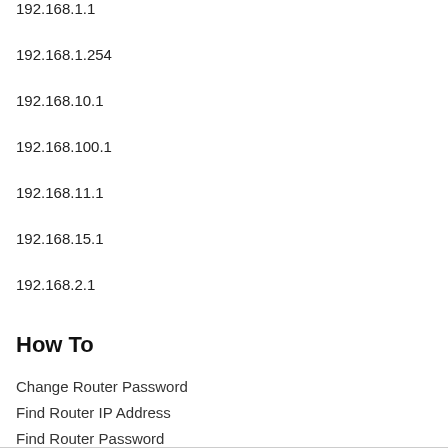192.168.1.1
192.168.1.254
192.168.10.1
192.168.100.1
192.168.11.1
192.168.15.1
192.168.2.1
How To
Change Router Password
Find Router IP Address
Find Router Password